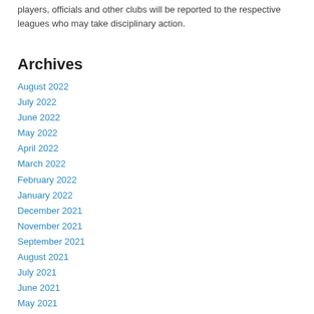players, officials and other clubs will be reported to the respective leagues who may take disciplinary action.
Archives
August 2022
July 2022
June 2022
May 2022
April 2022
March 2022
February 2022
January 2022
December 2021
November 2021
September 2021
August 2021
July 2021
June 2021
May 2021